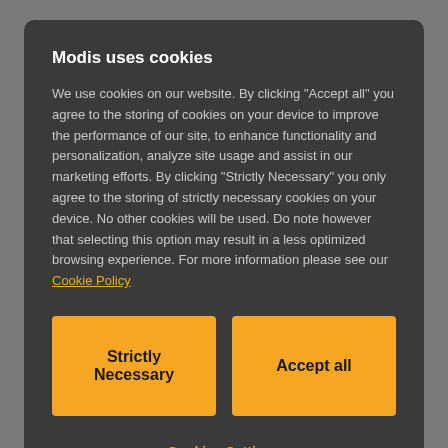ripe for disruption. Driverless and pilotless vehicles, and real-time monitoring of vehicle movements are only the beginning. Massive changes to infrastructure will be necessary
Modis uses cookies
We use cookies on our website. By clicking "Accept all" you agree to the storing of cookies on your device to improve the performance of our site, to enhance functionality and personalization, analyze site usage and assist in our marketing efforts. By clicking "Strictly Necessary" you only agree to the storing of strictly necessary cookies on your device. No other cookies will be used. Do note however that selecting this option may result in a less optimized browsing experience. For more information please see our Cookie Policy
Strictly Necessary
Accept all
Cookies Settings